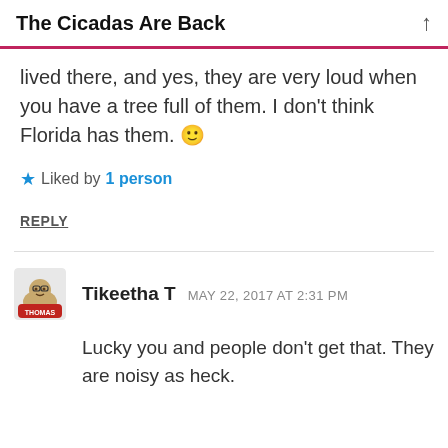The Cicadas Are Back
lived there, and yes, they are very loud when you have a tree full of them. I don't think Florida has them. 🙂
★ Liked by 1 person
REPLY
Tikeetha T  MAY 22, 2017 AT 2:31 PM
Lucky you and people don't get that. They are noisy as heck.